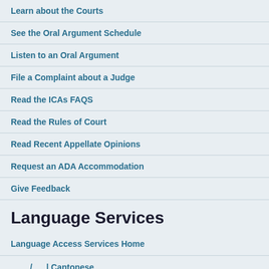Learn about the Courts
See the Oral Argument Schedule
Listen to an Oral Argument
File a Complaint about a Judge
Read the ICAs FAQS
Read the Rules of Court
Read Recent Appellate Opinions
Request an ADA Accommodation
Give Feedback
Language Services
Language Access Services Home
/ | Cantonese